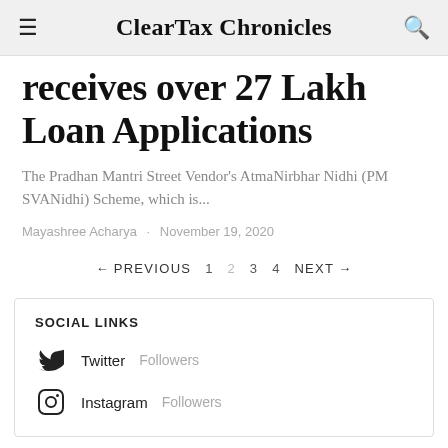ClearTax Chronicles
receives over 27 Lakh Loan Applications
The Pradhan Mantri Street Vendor's AtmaNirbhar Nidhi (PM SVANidhi) Scheme, which is...
Mayashree Acharya · November 19, 2020
← PREVIOUS 1 2 3 4 NEXT →
SOCIAL LINKS
Twitter Followers
Instagram Followers